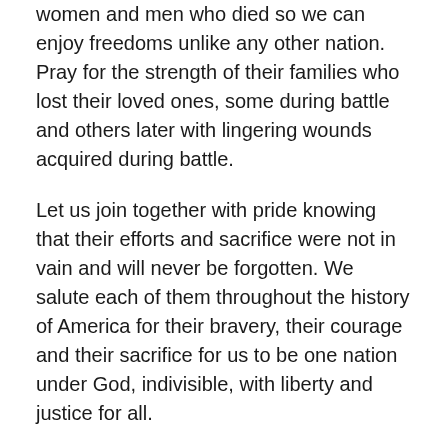women and men who died so we can enjoy freedoms unlike any other nation. Pray for the strength of their families who lost their loved ones, some during battle and others later with lingering wounds acquired during battle.
Let us join together with pride knowing that their efforts and sacrifice were not in vain and will never be forgotten. We salute each of them throughout the history of America for their bravery, their courage and their sacrifice for us to be one nation under God, indivisible, with liberty and justice for all.
Celebrate those who died for us!
Celebrate Memorial Day!